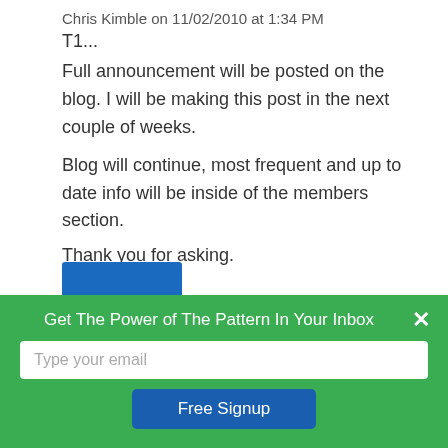Chris Kimble on 11/02/2010 at 1:34 PM
T1...
Full announcement will be posted on the blog. I will be making this post in the next couple of weeks.
Blog will continue, most frequent and up to date info will be inside of the members section.
Thank you for asking.
9.
[Figure (other): Blue rectangle partially visible at bottom of content area]
Get The Power of The Pattern In Your Inbox
Type your email
Free Signup